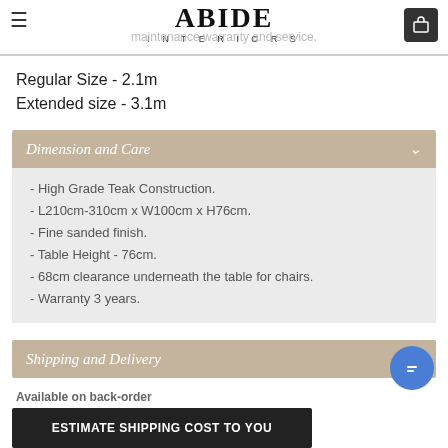ABIDE INTERIORS
maintenance warranty and service.
Regular Size - 2.1m
Extended size - 3.1m
Dimension and Care
- High Grade Teak Construction.
- L210cm-310cm x W100cm x H76cm.
- Fine sanded finish.
- Table Height - 76cm.
- 68cm clearance underneath the table for chairs.
- Warranty 3 years.
Shipping and Delivery
Available on back-order
ESTIMATE SHIPPING COST TO YOU